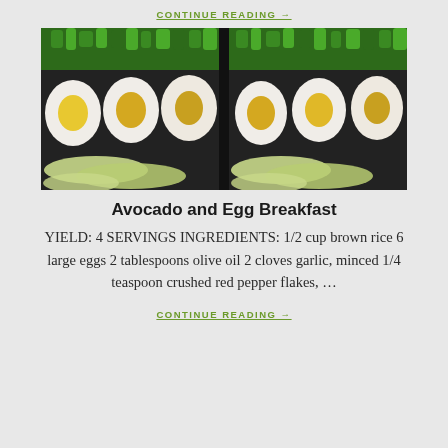CONTINUE READING →
[Figure (photo): Two meal-prep containers filled with halved hard-boiled eggs, sliced avocado, and garnished with chopped green herbs on a dark background.]
Avocado and Egg Breakfast
YIELD: 4 SERVINGS INGREDIENTS: 1/2 cup brown rice 6 large eggs 2 tablespoons olive oil 2 cloves garlic, minced 1/4 teaspoon crushed red pepper flakes, …
CONTINUE READING →